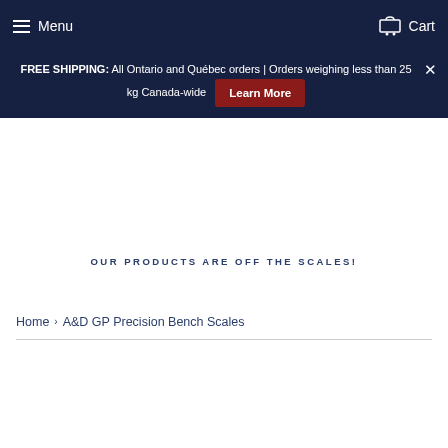Menu | Cart
FREE SHIPPING: All Ontario and Québec orders | Orders weighing less than 25 kg Canada-wide  Learn More
OUR PRODUCTS ARE OFF THE SCALES!
Home › A&D GP Precision Bench Scales